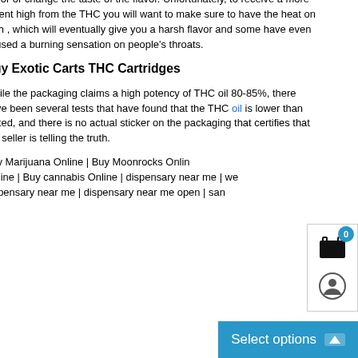flavor or change the taste of the flavor. Unfortunately, to receive a more potent high from the THC you will want to make sure to have the heat on high , which will eventually give you a harsh flavor and some have even caused a burning sensation on people's throats.
Buy Exotic Carts THC Cartridges
While the packaging claims a high potency of THC oil 80-85%, there have been several tests that have found that the THC oil is lower than stated, and there is no actual sticker on the packaging that certifies that the seller is telling the truth.
Buy Marijuana Online | Buy Moonrocks Online | Buy Wax Online | Buy cannabis Online | dispensary near me | weed dispensary near me | dispensary near me open | san